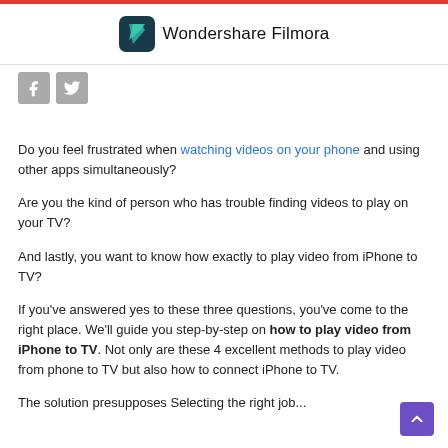Wondershare Filmora
[Figure (logo): Wondershare Filmora logo — teal/dark icon with arrow shapes and the text 'Wondershare Filmora']
[Figure (illustration): Facebook and Twitter social media icon buttons (grey square icons)]
Do you feel frustrated when watching videos on your phone and using other apps simultaneously?
Are you the kind of person who has trouble finding videos to play on your TV?
And lastly, you want to know how exactly to play video from iPhone to TV?
If you've answered yes to these three questions, you've come to the right place. We'll guide you step-by-step on how to play video from iPhone to TV. Not only are these 4 excellent methods to play video from phone to TV but also how to connect iPhone to TV.
The solution presupposes Selecting the right job...